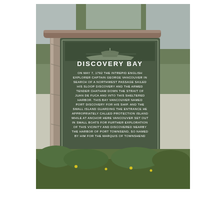[Figure (photo): Outdoor historical marker sign for 'Discovery Bay' mounted on wooden log posts, surrounded by trees and greenery. The green sign has white text describing Captain George Vancouver's exploration of Discovery Bay on May 7, 1792, naming it Port Discovery after his sloop, and discovering nearby Port Townsend named for the Marquis of Townshend.]